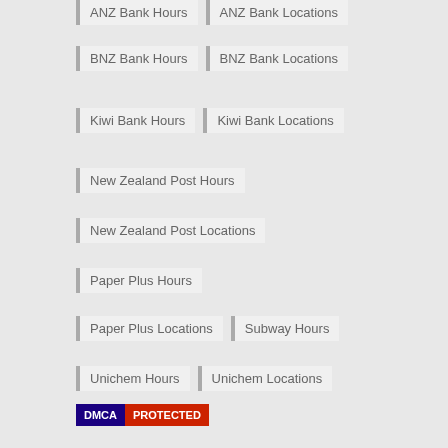ANZ Bank Hours
ANZ Bank Locations
BNZ Bank Hours
BNZ Bank Locations
Kiwi Bank Hours
Kiwi Bank Locations
New Zealand Post Hours
New Zealand Post Locations
Paper Plus Hours
Paper Plus Locations
Subway Hours
Unichem Hours
Unichem Locations
Westpac Bank Hours
Westpac Bank Locations
[Figure (logo): DMCA Protected badge with dark blue DMCA label and red PROTECTED label]